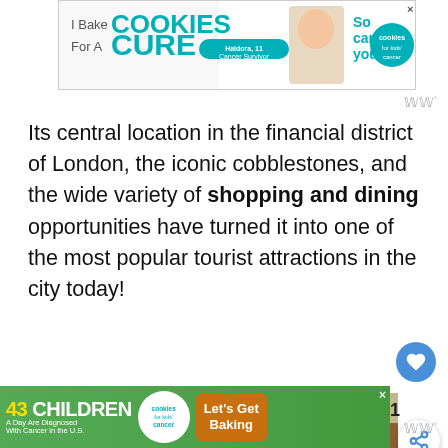[Figure (screenshot): Advertisement banner: 'I Bake COOKIES For A CURE' with Cookies for Kids Cancer logo, featuring a child photo and 'So can you!' text]
Its central location in the financial district of London, the iconic cobblestones, and the wide variety of shopping and dining opportunities have turned it into one of the most popular tourist attractions in the city today!
[Figure (photo): Interior photo of Leadenhall Market in London showing Victorian glass and iron roof arcade with ornate architecture]
[Figure (screenshot): Advertisement banner: '43 CHILDREN A Day Are Diagnosed With Cancer in the U.S.' Cookies for Kids Cancer - Let's Get Baking]